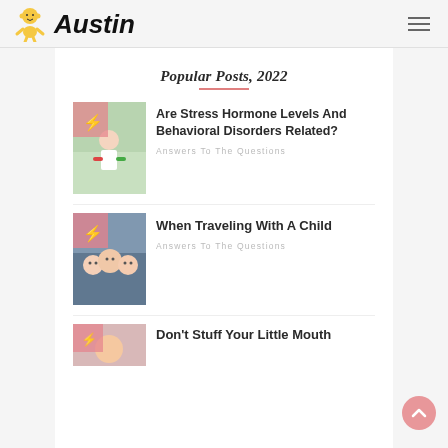[Figure (logo): Baby/child cartoon logo icon for Austin blog]
Austin
Popular Posts, 2022
[Figure (photo): Photo thumbnail for stress hormone article with pink overlay and lightning bolt icon]
Are Stress Hormone Levels And Behavioral Disorders Related?
Answers To The Questions
[Figure (photo): Photo thumbnail for traveling with child article with pink overlay and lightning bolt icon, showing children in car]
When Traveling With A Child
Answers To The Questions
[Figure (photo): Photo thumbnail for stuffing mouth article with pink overlay]
Don't Stuff Your Little Mouth